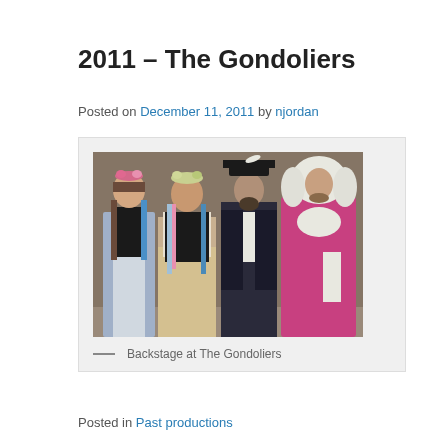2011 – The Gondoliers
Posted on December 11, 2011 by njordan
[Figure (photo): Four people in theatrical costumes backstage at The Gondoliers. Two women in folk dress with flower headpieces, a man in a tricorn hat and dark jacket, and a man in a pink/magenta period costume with a large white wig.]
— Backstage at The Gondoliers
Posted in Past productions